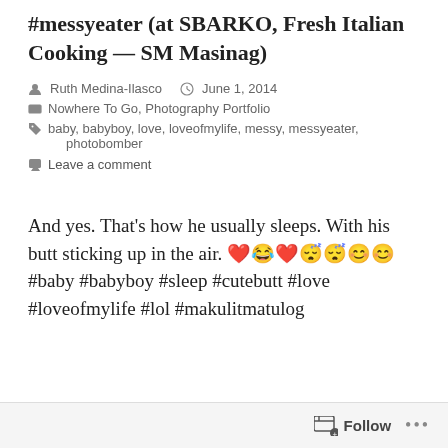#messyeater (at SBARKO, Fresh Italian Cooking — SM Masinag)
Ruth Medina-Ilasco   June 1, 2014
Nowhere To Go, Photography Portfolio
baby, babyboy, love, loveofmylife, messy, messyeater, photobomber
Leave a comment
And yes. That's how he usually sleeps. With his butt sticking up in the air. ❤️😂❤️😴😴😊😊 #baby #babyboy #sleep #cutebutt #love #loveofmylife #lol #makulitmatulog
Follow ...